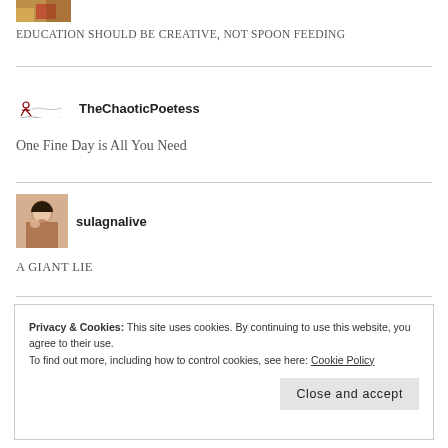[Figure (photo): Partial cropped photo at top, showing colorful image (orange/red hues)]
EDUCATION SHOULD BE CREATIVE, NOT SPOON FEEDING
[Figure (logo): TheChaoticPoetess logo – stylized icon with cursive/handwritten symbol followed by bold text 'TheChaoticPoetess']
One Fine Day is All You Need
[Figure (photo): Profile photo of a woman with dark hair, hand near face]
sulagnalive
A GIANT LIE
Privacy & Cookies: This site uses cookies. By continuing to use this website, you agree to their use.
To find out more, including how to control cookies, see here: Cookie Policy
Close and accept